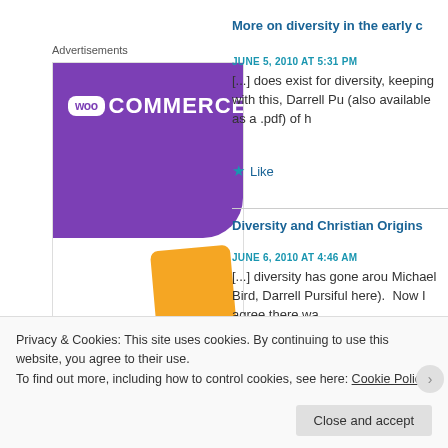Advertisements
[Figure (illustration): WooCommerce advertisement banner with purple header, WooCommerce logo, orange shape, and bold text 'How to start selling subscriptions']
More on diversity in the early c
JUNE 5, 2010 AT 5:31 PM
[...] does exist for diversity, keeping with this, Darrell Pu (also available as a .pdf) of h
Like
Diversity and Christian Origins
JUNE 6, 2010 AT 4:46 AM
[...] diversity has gone arou Michael Bird, Darrell Pursiful here). Now I agree there wa
Privacy & Cookies: This site uses cookies. By continuing to use this website, you agree to their use.
To find out more, including how to control cookies, see here: Cookie Policy
Close and accept